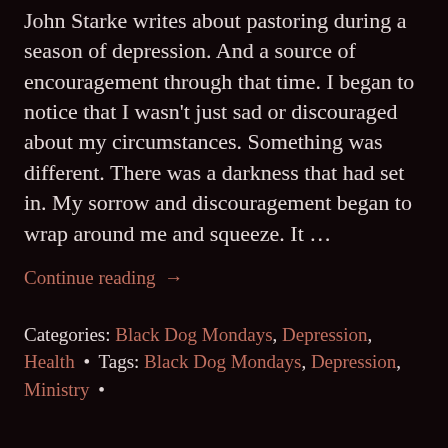John Starke writes about pastoring during a season of depression. And a source of encouragement through that time. I began to notice that I wasn't just sad or discouraged about my circumstances. Something was different. There was a darkness that had set in. My sorrow and discouragement began to wrap around me and squeeze. It …
Continue reading →
Categories: Black Dog Mondays, Depression, Health • Tags: Black Dog Mondays, Depression, Ministry •